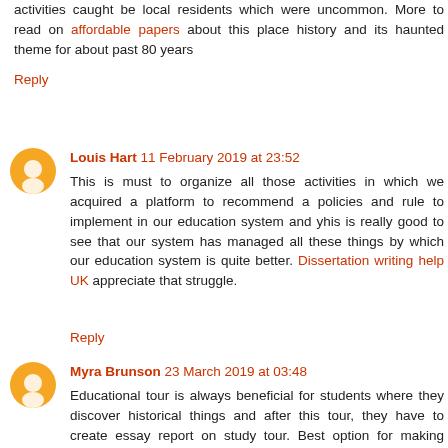activities caught be local residents which were uncommon. More to read on affordable papers about this place history and its haunted theme for about past 80 years
Reply
Louis Hart 11 February 2019 at 23:52
This is must to organize all those activities in which we acquired a platform to recommend a policies and rule to implement in our education system and yhis is really good to see that our system has managed all these things by which our education system is quite better. Dissertation writing help UK appreciate that struggle.
Reply
Myra Brunson 23 March 2019 at 03:48
Educational tour is always beneficial for students where they discover historical things and after this tour, they have to create essay report on study tour. Best option for making perfect essay report is Affordable Essay Writers.